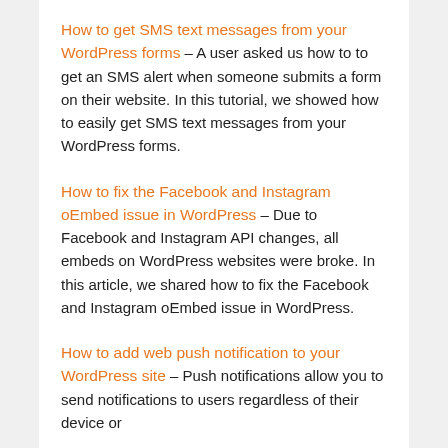How to get SMS text messages from your WordPress forms – A user asked us how to to get an SMS alert when someone submits a form on their website. In this tutorial, we showed how to easily get SMS text messages from your WordPress forms.
How to fix the Facebook and Instagram oEmbed issue in WordPress – Due to Facebook and Instagram API changes, all embeds on WordPress websites were broke. In this article, we shared how to fix the Facebook and Instagram oEmbed issue in WordPress.
How to add web push notification to your WordPress site – Push notifications allow you to send notifications to users regardless of their device or